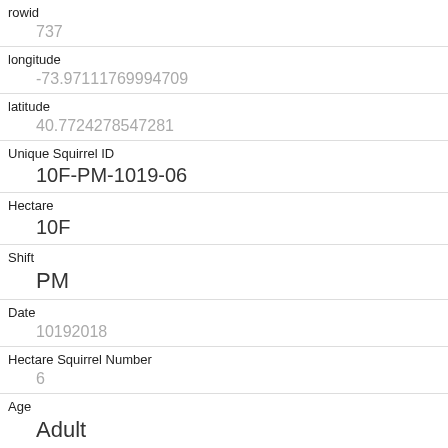| Field | Value |
| --- | --- |
| rowid | 737 |
| longitude | -73.97111769994709 |
| latitude | 40.7724278547281 |
| Unique Squirrel ID | 10F-PM-1019-06 |
| Hectare | 10F |
| Shift | PM |
| Date | 10192018 |
| Hectare Squirrel Number | 6 |
| Age | Adult |
| Primary Fur Color | Gray |
| Highlight Fur Color |  |